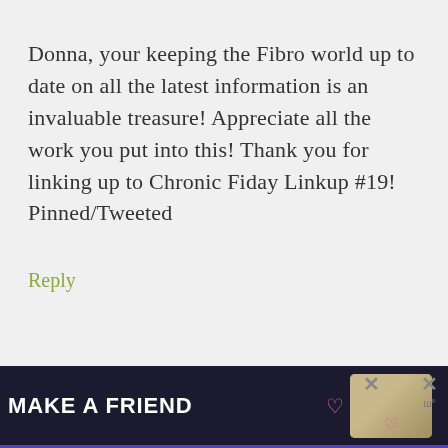Donna, your keeping the Fibro world up to date on all the latest information is an invaluable treasure! Appreciate all the work you put into this! Thank you for linking up to Chronic Fiday Linkup #19! Pinned/Tweeted
Reply
greg czarnota says
[Figure (screenshot): Advertisement banner: dark background with text 'MAKE A FRIEND', heart icon, dog image, close button, X button, and purple bar at bottom]